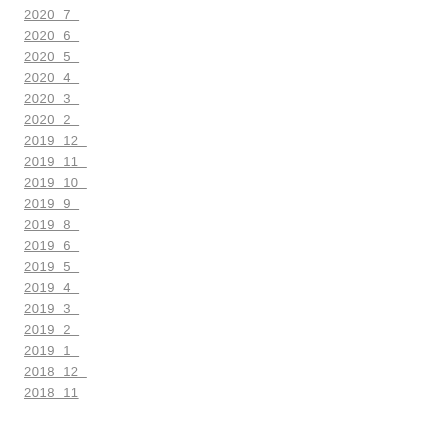2020_7_
2020_6_
2020_5_
2020_4_
2020_3_
2020_2_
2019_12_
2019_11_
2019_10_
2019_9_
2019_8_
2019_6_
2019_5_
2019_4_
2019_3_
2019_2_
2019_1_
2018_12_
2018_11_